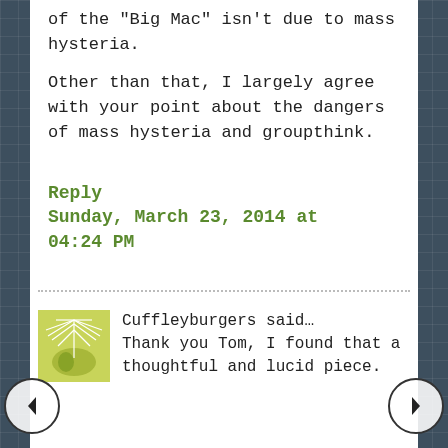of the "Big Mac" isn't due to mass hysteria.
Other than that, I largely agree with your point about the dangers of mass hysteria and groupthink.
Reply
Sunday, March 23, 2014 at 04:24 PM
Cuffleyburgers said…
Thank you Tom, I found that a thoughtful and lucid piece.